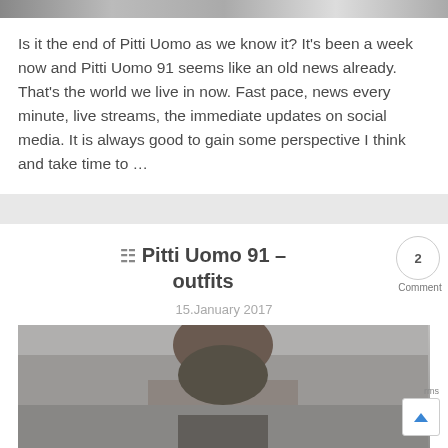[Figure (photo): Partial image strip at top of page showing people outdoors, cropped]
Is it the end of Pitti Uomo as we know it? It's been a week now and Pitti Uomo 91 seems like an old news already. That's the world we live in now. Fast pace, news every minute, live streams, the immediate updates on social media. It is always good to gain some perspective I think and take time to …
Pitti Uomo 91 – outfits
15.January 2017
[Figure (photo): Man wearing sunglasses outdoors, partial image at bottom of page]